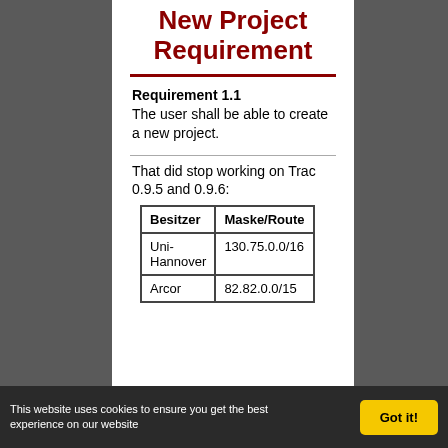New Project Requirement
Requirement 1.1
The user shall be able to create a new project.
That did stop working on Trac 0.9.5 and 0.9.6:
| Besitzer | Maske/Route |
| --- | --- |
| Uni-Hannover | 130.75.0.0/16 |
| Arcor | 82.82.0.0/15 |
This website uses cookies to ensure you get the best experience on our website